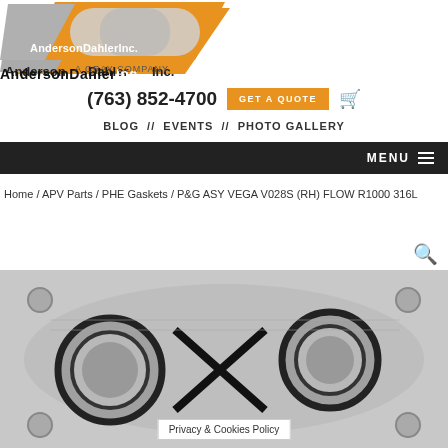[Figure (logo): Anderson Dahlen Inc. A Gray Company logo with silver and orange stylized 'AD' letterform]
(763) 852-4700
GET A QUOTE
BLOG // EVENTS // PHOTO GALLERY
MENU
Home / APV Parts / PHE Gaskets / P&G ASY VEGA V028S (RH) FLOW R1000 316L
[Figure (photo): Close-up photo of a PHE (Plate Heat Exchanger) gasket, silver metallic plate with black rubber gasket seals, showing two large circular port openings with X-pattern in center]
Privacy & Cookies Policy